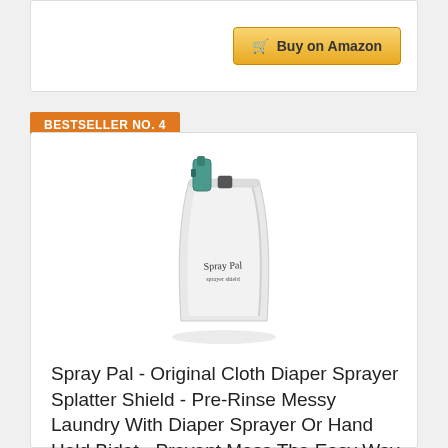[Figure (screenshot): Buy on Amazon button with shopping cart icon, golden yellow background]
BESTSELLER NO. 4
[Figure (photo): Spray Pal cloth diaper sprayer splatter shield product photo — white conical shield with teal sprayer attachment]
Spray Pal - Original Cloth Diaper Sprayer Splatter Shield - Pre-Rinse Messy Laundry With Diaper Sprayer Or Hand Held Bidet - Prevent Mess The Easy Way